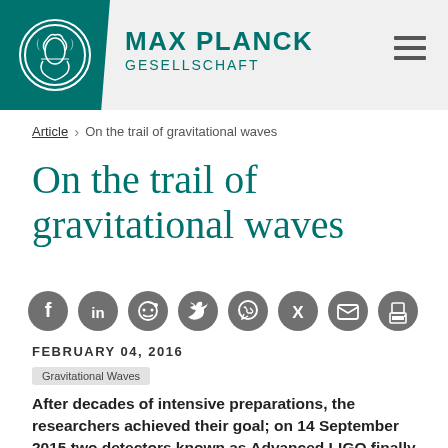MAX PLANCK GESELLSCHAFT
Article > On the trail of gravitational waves
On the trail of gravitational waves
[Figure (infographic): Social share icons row: Facebook, LinkedIn, Reddit, Twitter, WhatsApp, Xing, Email, Print]
FEBRUARY 04, 2016
Gravitational Waves
After decades of intensive preparations, the researchers achieved their goal; on 14 September 2015 two detectors known as Advanced LIGO finally managed to ensnare gravitational waves. The installation in the USA uses technologies developed primarily at the Max